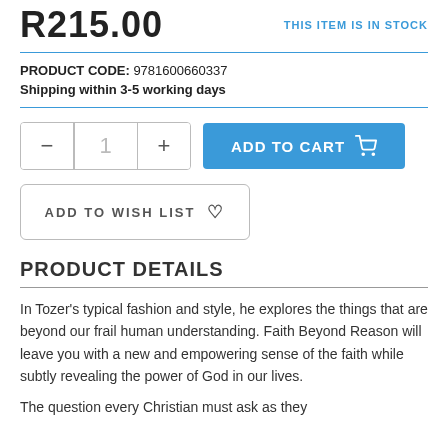R215.00 — THIS ITEM IS IN STOCK
PRODUCT CODE: 9781600660337
Shipping within 3-5 working days
— 1 + ADD TO CART
ADD TO WISH LIST
PRODUCT DETAILS
In Tozer's typical fashion and style, he explores the things that are beyond our frail human understanding. Faith Beyond Reason will leave you with a new and empowering sense of the faith while subtly revealing the power of God in our lives.
The question every Christian must ask as they